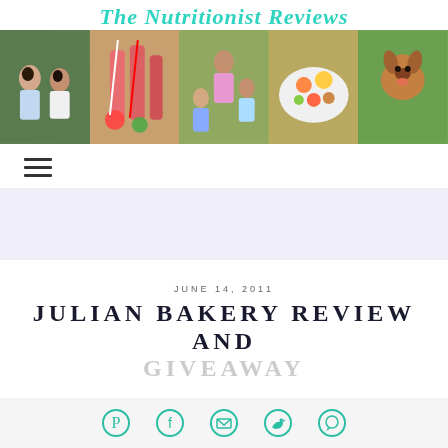The Nutritionist Reviews
[Figure (photo): Blog banner with five panels: couple outdoors, strawberry drinks with straws, mother with two children, colorful food bowl, dachshund dog]
[Figure (other): Hamburger menu icon (three horizontal lines)]
[Figure (other): Lavender/light purple advertisement band]
JUNE 14, 2011
JULIAN BAKERY REVIEW AND GIVEAWAY
[Figure (other): Social sharing icons: Pinterest, Facebook, Email, Twitter, WhatsApp]